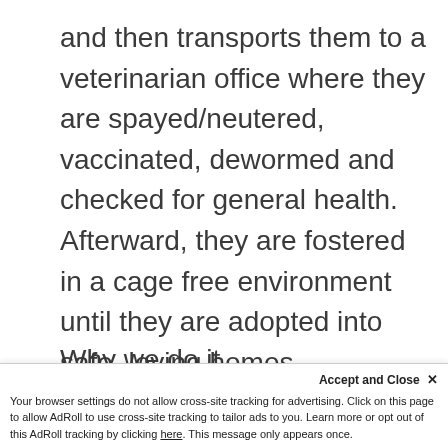and then transports them to a veterinarian office where they are spayed/neutered, vaccinated, dewormed and checked for general health. Afterward, they are fostered in a cage free environment until they are adopted into safe, loving homes.
Why we do it
With tens of thousands of feral cats on the streets of NYC, our focus is on TNR as an effort to humanely reduce the overall population, b...
...sterilizing the feral cats in the colony
Your browser settings do not allow cross-site tracking for advertising. Click on this page to allow AdRoll to use cross-site tracking to tailor ads to you. Learn more or opt out of this AdRoll tracking by clicking here. This message only appears once.